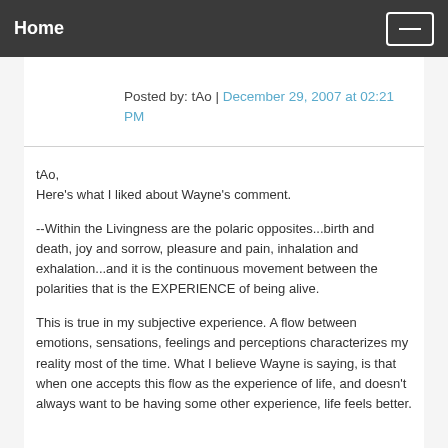Home
Posted by: tAo | December 29, 2007 at 02:21 PM
tAo,
Here's what I liked about Wayne's comment.

--Within the Livingness are the polaric opposites...birth and death, joy and sorrow, pleasure and pain, inhalation and exhalation...and it is the continuous movement between the polarities that is the EXPERIENCE of being alive.

This is true in my subjective experience. A flow between emotions, sensations, feelings and perceptions characterizes my reality most of the time. What I believe Wayne is saying, is that when one accepts this flow as the experience of life, and doesn't always want to be having some other experience, life feels better.